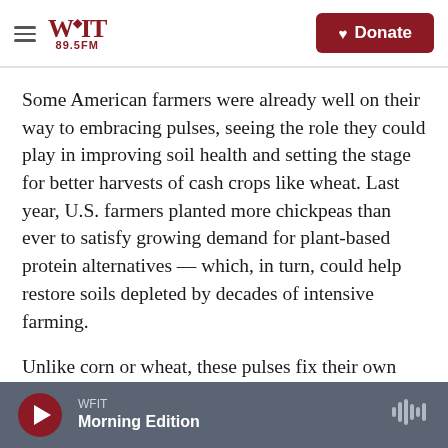WFIT 89.5FM | Donate
Some American farmers were already well on their way to embracing pulses, seeing the role they could play in improving soil health and setting the stage for better harvests of cash crops like wheat. Last year, U.S. farmers planted more chickpeas than ever to satisfy growing demand for plant-based protein alternatives — which, in turn, could help restore soils depleted by decades of intensive farming.
Unlike corn or wheat, these pulses fix their own nitrogen from the atmosphere, leaving extra stores
WFIT Morning Edition